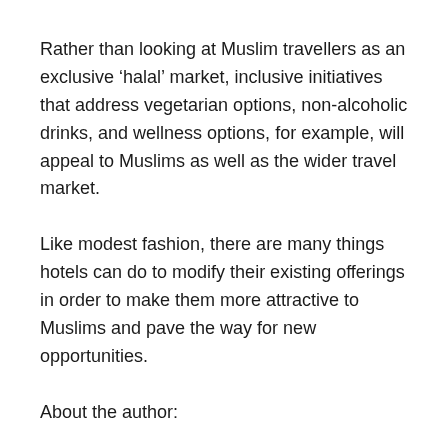Rather than looking at Muslim travellers as an exclusive ‘halal’ market, inclusive initiatives that address vegetarian options, non-alcoholic drinks, and wellness options, for example, will appeal to Muslims as well as the wider travel market.
Like modest fashion, there are many things hotels can do to modify their existing offerings in order to make them more attractive to Muslims and pave the way for new opportunities.
About the author:
Sharmeen Suleman has travelled extensively and worked in a number of industries including health and fashion.